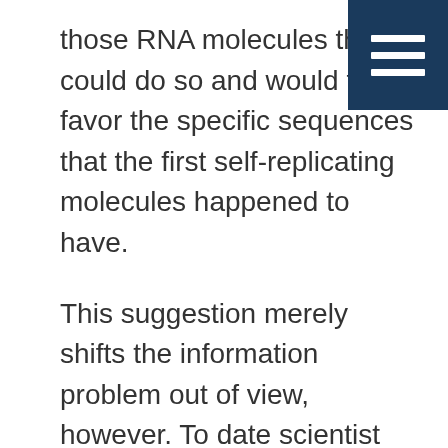those RNA molecules that could do so and would thus favor the specific sequences that the first self-replicating molecules happened to have.
[Figure (other): Navigation menu icon (hamburger menu) with three white horizontal bars on a dark navy blue background, positioned in the top-right corner.]
This suggestion merely shifts the information problem out of view, however. To date scientist have been able to design RNA catalysts that will copy only about 10% of themselves (Johnston et al. 2001, 1319-25). For strands of RNA to perform even this limited replicase (self-replication) function, however, they must, like proteins, have very specific arrangements of constituent building blocks (nucleotides in the RNA